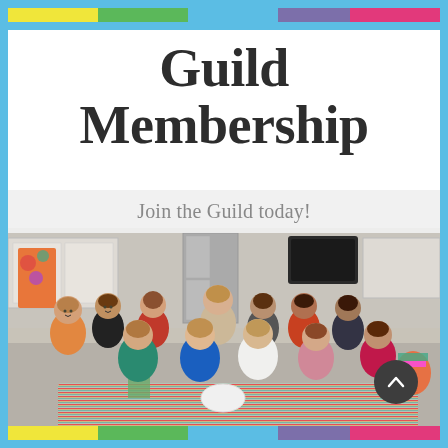Guild Membership
Join the Guild today!
[Figure (photo): Group photo of approximately 13 women gathered around a table with colorful striped tablecloth, flowers, food and drinks in a kitchen setting. Some women are seated in front, others standing behind. They are dressed in various colored tops including orange, green, blue, red, white, and pink.]